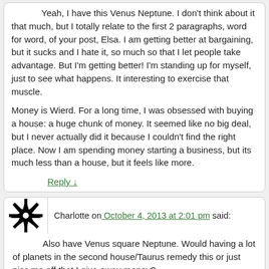Yeah, I have this Venus Neptune. I don't think about it that much, but I totally relate to the first 2 paragraphs, word for word, of your post, Elsa. I am getting better at bargaining, but it sucks and I hate it, so much so that I let people take advantage. But I'm getting better! I'm standing up for myself, just to see what happens. It interesting to exercise that muscle.

Money is Wierd. For a long time, I was obsessed with buying a house: a huge chunk of money. It seemed like no big deal, but I never actually did it because I couldn't find the right place. Now I am spending money starting a business, but its much less than a house, but it feels like more.
Reply ↓
Charlotte on October 4, 2013 at 2:01 pm said:
Also have Venus square Neptune. Would having a lot of planets in the second house/Taurus remedy this or just piss me off that I give away money?
Reply ↓
mermaid44 on October 4, 2013 at 3:08 pm said:
I have my sun, moon, and mercury in Pisces and Venus in the